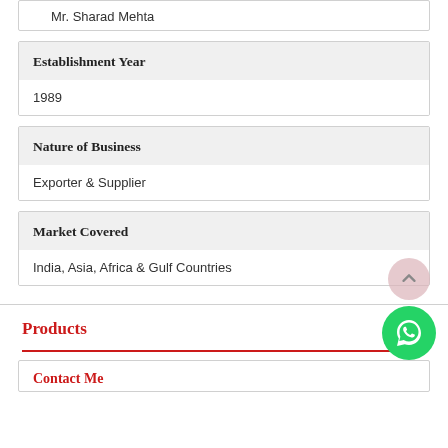Mr. Sharad Mehta
Establishment Year
1989
Nature of Business
Exporter & Supplier
Market Covered
India, Asia, Africa & Gulf Countries
Products
Contact Me